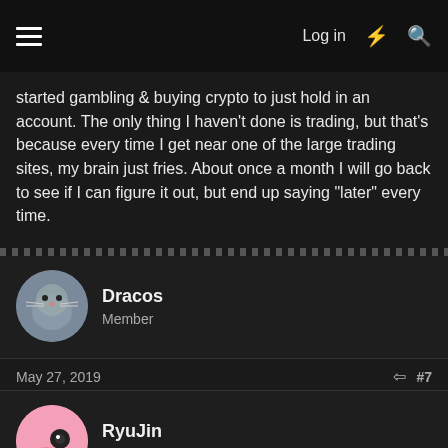Log in
started gambling & buying crypto to just hold in an account. The only thing I haven't done is trading, but that's because every time I get near one of the large trading sites, my brain just fries. About once a month I will go back to see if I can figure it out, but end up saying "later" every time.
Dracos
Member
May 27, 2019
#7
a couple of years ago, hired to work in blockchain
RyuJin
Newbie
Jun 6, 2019
#8